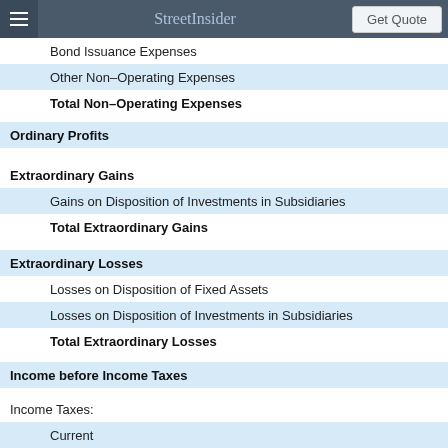StreetInsider | Get Quote
Bond Issuance Expenses
Other Non–Operating Expenses
Total Non–Operating Expenses
Ordinary Profits
Extraordinary Gains
Gains on Disposition of Investments in Subsidiaries
Total Extraordinary Gains
Extraordinary Losses
Losses on Disposition of Fixed Assets
Losses on Disposition of Investments in Subsidiaries
Total Extraordinary Losses
Income before Income Taxes
Income Taxes:
Current
Deferred
Total Income Taxes
Net Income